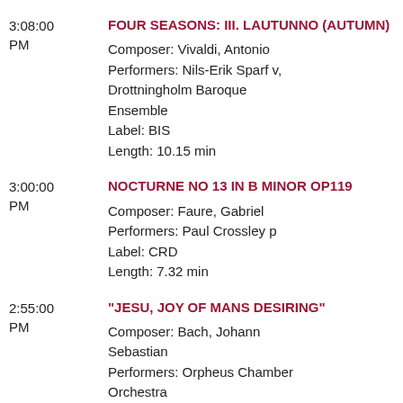3:08:00 PM | FOUR SEASONS: III. LAUTUNNO (AUTUMN) | Composer: Vivaldi, Antonio | Performers: Nils-Erik Sparf v, Drottningholm Baroque Ensemble | Label: BIS | Length: 10.15 min
3:00:00 PM | NOCTURNE NO 13 IN B MINOR OP119 | Composer: Faure, Gabriel | Performers: Paul Crossley p | Label: CRD | Length: 7.32 min
2:55:00 PM | "JESU, JOY OF MANS DESIRING" | Composer: Bach, Johann Sebastian | Performers: Orpheus Chamber Orchestra | Label: Deutsche Grammophon